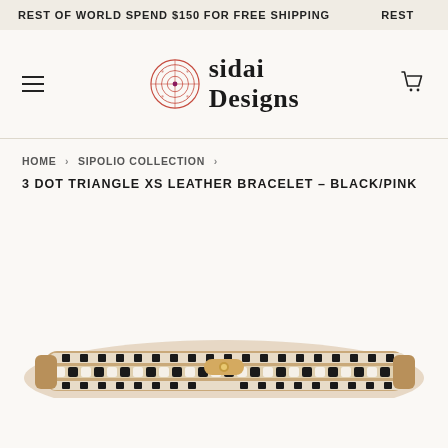REST OF WORLD SPEND $150 FOR FREE SHIPPING  REST
[Figure (logo): Sidai Designs logo with circular target/compass SVG icon in red and the text 'sidai designs' in serif font]
HOME › SIPOLIO COLLECTION ›
3 DOT TRIANGLE XS LEATHER BRACELET – BLACK/PINK
[Figure (photo): Close-up photo of a beaded leather bracelet with black and cream/white pattern and gold clasp hardware, partially cropped at bottom of page]